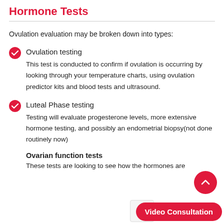Hormone Tests
Ovulation evaluation may be broken down into types:
Ovulation testing
This test is conducted to confirm if ovulation is occurring by looking through your temperature charts, using ovulation predictor kits and blood tests and ultrasound.
Luteal Phase testing
Testing will evaluate progesterone levels, more extensive hormone testing, and possibly an endometrial biopsy(not done routinely now)
Ovarian function tests
These tests are looking to see how the hormones are